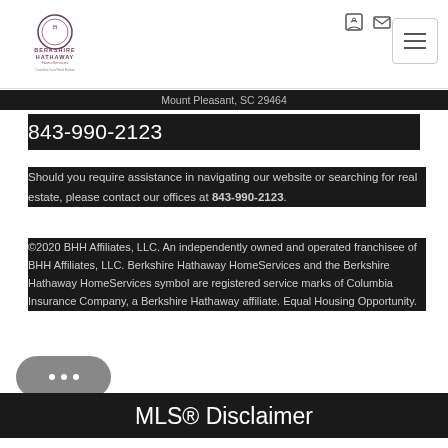[Figure (logo): Berkshire Hathaway HomeServices Carolinas Sun Real Estate logo]
Mount Pleasant, SC 29464
843-990-2123
Should you require assistance in navigating our website or searching for real estate, please contact our offices at 843-990-2123.
©2020 BHH Affiliates, LLC. An independently owned and operated franchisee of BHH Affiliates, LLC. Berkshire Hathaway HomeServices and the Berkshire Hathaway HomeServices symbol are registered service marks of Columbia Insurance Company, a Berkshire Hathaway affiliate. Equal Housing Opportunity.
MLS® Disclaimer